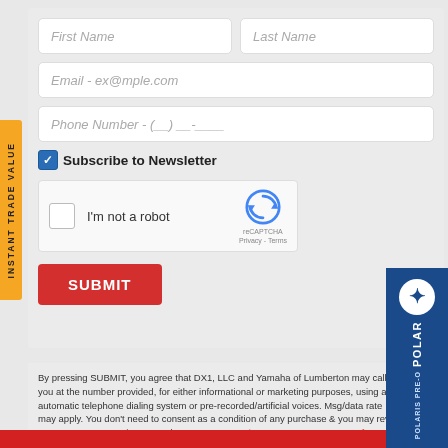First Name
Last Name
Email - ex@mple.com
Phone Number - (__)__-____
Subscribe to Newsletter
[Figure (screenshot): reCAPTCHA widget with checkbox and 'I'm not a robot' label]
SUBMIT
By pressing SUBMIT, you agree that DX1, LLC and Yamaha of Lumberton may call/text you at the number provided, for either informational or marketing purposes, using automatic telephone dialing system or pre-recorded/artificial voices. Msg/data rates may apply. You don't need to consent as a condition of any purchase & you may revoke your consent at any time. You also agree to our Privacy Statement & Terms of Use.
[Figure (logo): Polaris Pre-Order vertical banner in blue]